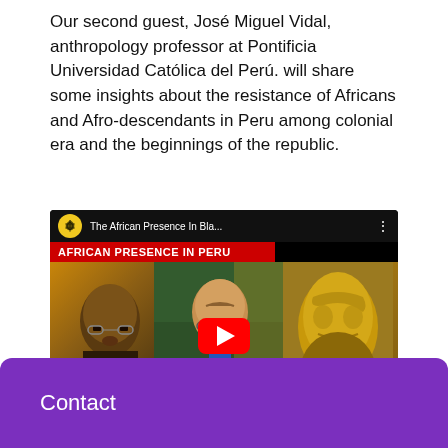Our second guest, José Miguel Vidal, anthropology professor at Pontificia Universidad Católica del Perú. will share some insights about the resistance of Africans and Afro-descendants in Peru among colonial era and the beginnings of the republic.
[Figure (screenshot): YouTube video thumbnail titled 'The African Presence In Bla...' with subtitle banner 'AFRICAN PRESENCE IN PERU'. Shows a collage of three images: a bespectacled person on the left, a man with glasses and beard in the center with a flag background, and a golden sculpture face on the right. A red YouTube play button is overlaid in the center.]
Contact